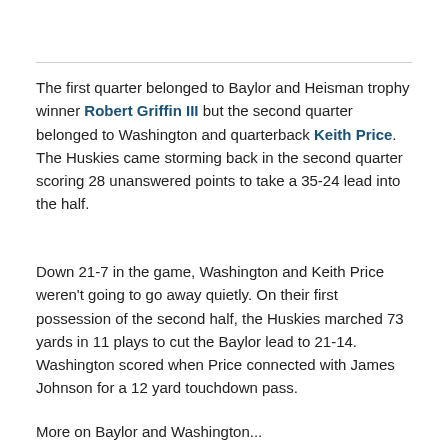The first quarter belonged to Baylor and Heisman trophy winner Robert Griffin III but the second quarter belonged to Washington and quarterback Keith Price. The Huskies came storming back in the second quarter scoring 28 unanswered points to take a 35-24 lead into the half.
Down 21-7 in the game, Washington and Keith Price weren't going to go away quietly. On their first possession of the second half, the Huskies marched 73 yards in 11 plays to cut the Baylor lead to 21-14. Washington scored when Price connected with James Johnson for a 12 yard touchdown pass.
More on Baylor and Washington...